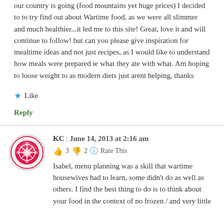our country is going (food mountains yet huge prices) I decided to to try find out about Wartime food, as we were all slimmer and much healthier...it led me to this site! Great, love it and will continue to follow! but can you please give inspiration for mealtime ideas and not just recipes, as I would like to understand how meals were prepared ie what they ate with what. Am hoping to loose weight to as modern diets just arent helping, thanks
★ Like
Reply
KC | June 14, 2013 at 2:16 am
👍 3 👎 2 ℹ Rate This
Isabel, menu planning was a skill that wartime housewives had to learn, some didn't do as well as others. I find the best thing to do is to think about your food in the context of no frozen / and very little